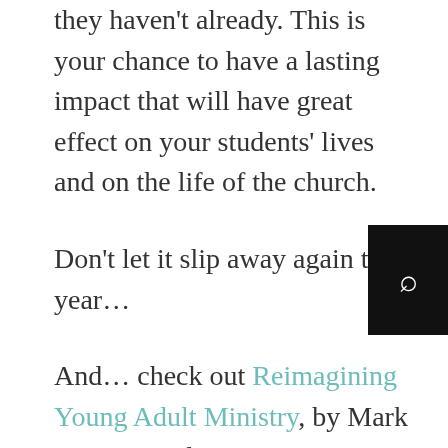they haven't already. This is your chance to have a lasting impact that will have great effect on your students' lives and on the life of the church.
Don't let it slip away again this year…
And… check out Reimagining Young Adult Ministry, by Mark DeVries and Scott Pontier, to help you in this adventure!